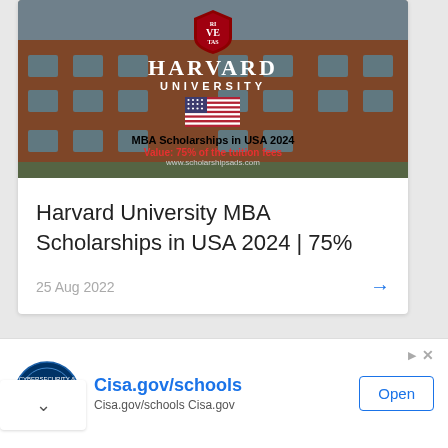[Figure (photo): Harvard University campus photo banner with shield logo, HARVARD UNIVERSITY text, American flag, and text 'MBA Scholarships in USA 2024' and 'Value: 75% of the tuition fees' and 'www.scholarshipsads.com']
Harvard University MBA Scholarships in USA 2024 | 75%
25 Aug 2022
[Figure (photo): Second article card with an image showing a church tower and trees against a blue sky]
Cisa.gov/schools
Cisa.gov/schools Cisa.gov